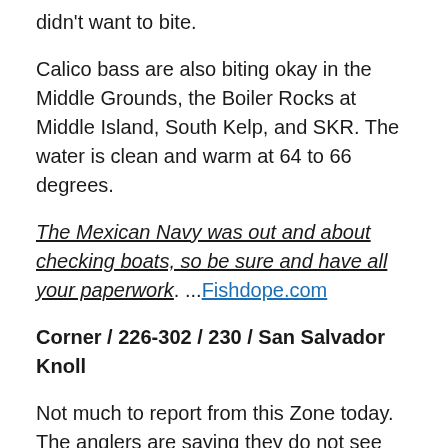didn't want to bite.
Calico bass are also biting okay in the Middle Grounds, the Boiler Rocks at Middle Island, South Kelp, and SKR. The water is clean and warm at 64 to 66 degrees.
The Mexican Navy was out and about checking boats, so be sure and have all your paperwork. ...Fishdope.com
Corner / 226-302 / 230 / San Salvador Knoll
Not much to report from this Zone today. The anglers are saying they do not see many signs of fish.
Still, stay observant! Just one little bird can make your entire trip. So, keep that in mind.
Also, be sure to check kelps if you are out this way. They